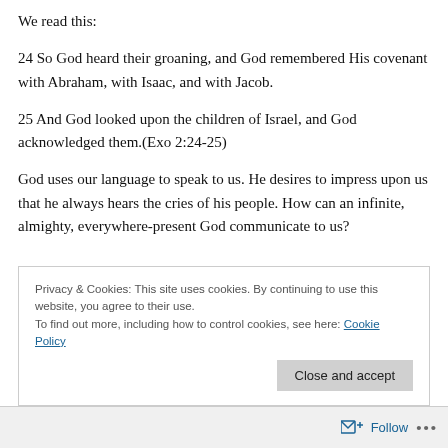We read this:
24 So God heard their groaning, and God remembered His covenant with Abraham, with Isaac, and with Jacob.
25 And God looked upon the children of Israel, and God acknowledged them.(Exo 2:24-25)
God uses our language to speak to us. He desires to impress upon us that he always hears the cries of his people. How can an infinite, almighty, everywhere-present God communicate to us?
Privacy & Cookies: This site uses cookies. By continuing to use this website, you agree to their use.
To find out more, including how to control cookies, see here: Cookie Policy
Close and accept
Follow ...